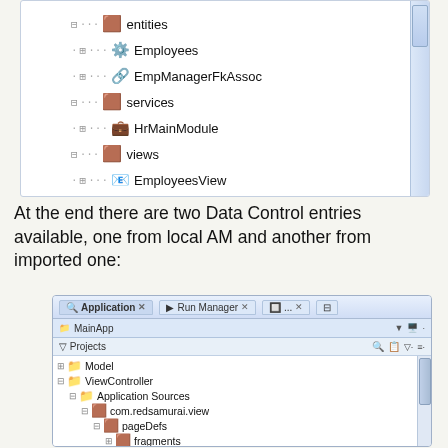[Figure (screenshot): IDE project tree showing entities (Employees, EmpManagerFkAssoc), services (HrMainModule), views (EmployeesView, EmpManagerFkLink), and Model.jpx]
At the end there are two Data Control entries available, one from local AM and another from imported one:
[Figure (screenshot): Oracle JDeveloper Application Navigator showing MainApp project with ViewController > Application Sources > com.redsamurai.view > pageDefs > fragments, mainPageDef.xml, DataBindings.cpx, and META-INF]